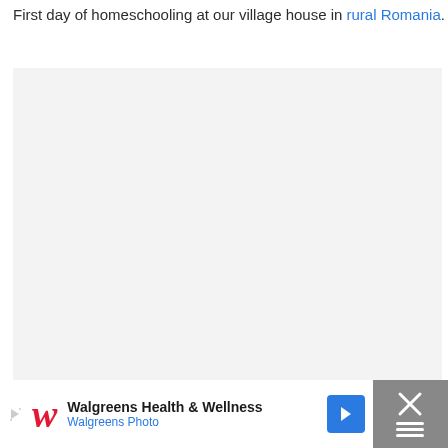First day of homeschooling at our village house in rural Romania.
[Figure (photo): Large light grey placeholder image area for a photo of the first day of homeschooling at a village house in rural Romania. Action buttons (heart/favorite and share) are overlaid on the lower right of the image area.]
Walgreens Health & Wellness Walgreens Photo — Advertisement banner